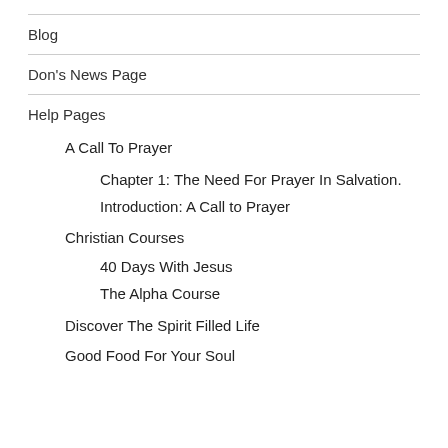Blog
Don's News Page
Help Pages
A Call To Prayer
Chapter 1: The Need For Prayer In Salvation.
Introduction: A Call to Prayer
Christian Courses
40 Days With Jesus
The Alpha Course
Discover The Spirit Filled Life
Good Food For Your Soul